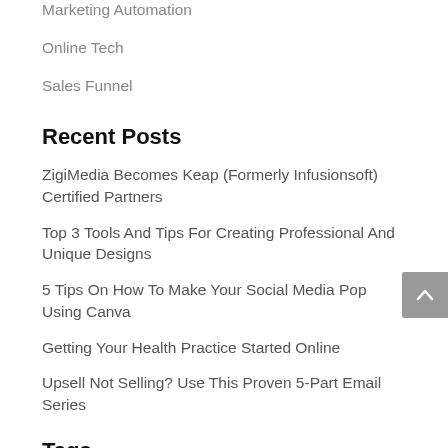Marketing Automation
Online Tech
Sales Funnel
Recent Posts
ZigiMedia Becomes Keap (Formerly Infusionsoft) Certified Partners
Top 3 Tools And Tips For Creating Professional And Unique Designs
5 Tips On How To Make Your Social Media Pop Using Canva
Getting Your Health Practice Started Online
Upsell Not Selling? Use This Proven 5-Part Email Series
Tags
ActiveCampaign
amazon
Automation
Business